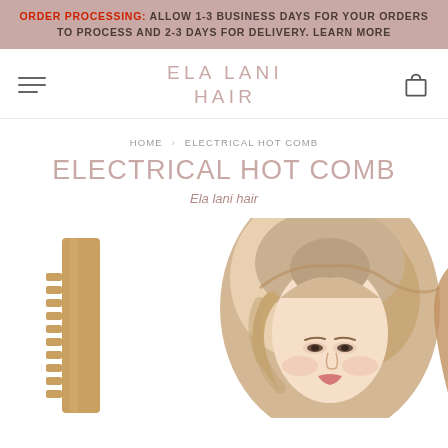ORDER PROCESSING: ALLOW 1-3 BUSINESS DAYS FOR YOUR ORDERS TO PROCESS AND 2-3 DAYS FOR DELIVERY. LEARN MORE
ELA LANI HAIR
HOME > ELECTRICAL HOT COMB
ELECTRICAL HOT COMB
Ela lani hair
[Figure (photo): Product photo showing a golden electrical hot comb beside a woman with styled blonde wavy hair]